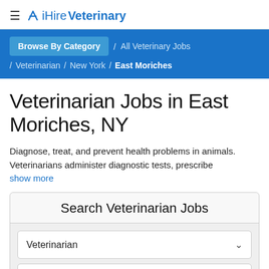≡ iHireVeterinary
Browse By Category / All Veterinary Jobs / Veterinarian / New York / East Moriches
Veterinarian Jobs in East Moriches, NY
Diagnose, treat, and prevent health problems in animals. Veterinarians administer diagnostic tests, prescribe
show more
Search Veterinarian Jobs
Veterinarian